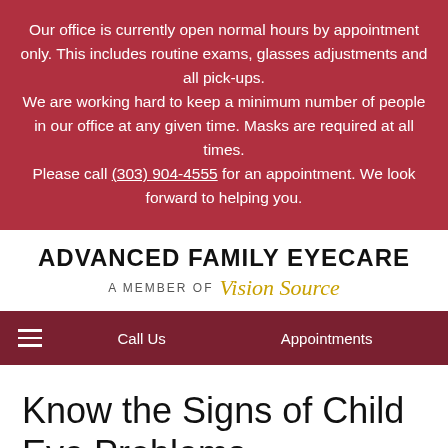Our office is currently open normal hours by appointment only. This includes routine exams, glasses adjustments and all pick-ups. We are working hard to keep a minimum number of people in our office at any given time. Masks are required at all times. Please call (303) 904-4555 for an appointment. We look forward to helping you.
ADVANCED FAMILY EYECARE A MEMBER OF Vision Source
Call Us   Appointments
Know the Signs of Child Eye Problems